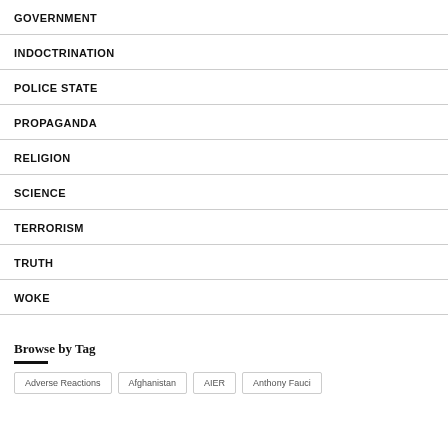GOVERNMENT
INDOCTRINATION
POLICE STATE
PROPAGANDA
RELIGION
SCIENCE
TERRORISM
TRUTH
WOKE
Browse by Tag
Adverse Reactions  Afghanistan  AIER  Anthony Fauci